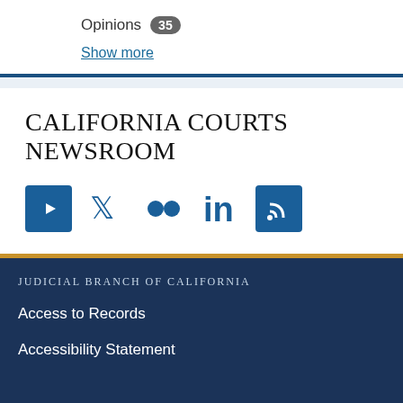Opinions 35
Show more
CALIFORNIA COURTS NEWSROOM
[Figure (infographic): Social media icons row: YouTube, Twitter, Flickr, LinkedIn, RSS feed]
JUDICIAL BRANCH OF CALIFORNIA
Access to Records
Accessibility Statement